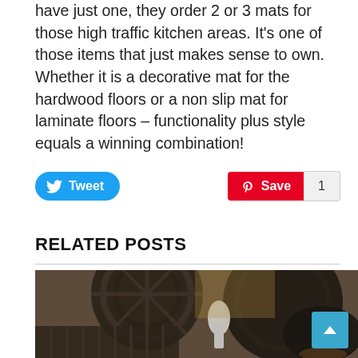have just one, they order 2 or 3 mats for those high traffic kitchen areas. It’s one of those items that just makes sense to own. Whether it is a decorative mat for the hardwood floors or a non slip mat for laminate floors – functionality plus style equals a winning combination!
[Figure (screenshot): Tweet button (blue) and Pinterest Save button (red) with count of 1]
RELATED POSTS
[Figure (photo): Close-up photo of dark metal industrial components or cookware parts, showing circular wheel-like and grid-like structures]